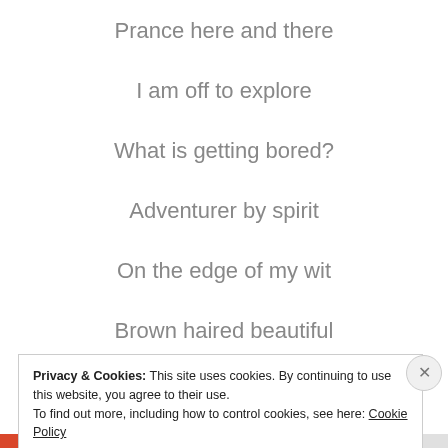Prance here and there
I am off to explore
What is getting bored?
Adventurer by spirit
On the edge of my wit
Brown haired beautiful
Privacy & Cookies: This site uses cookies. By continuing to use this website, you agree to their use. To find out more, including how to control cookies, see here: Cookie Policy
Close and accept